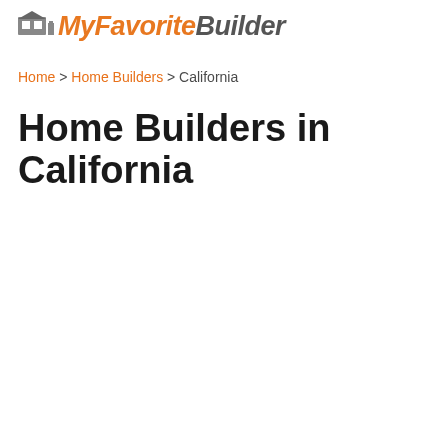MyFavoriteBuilder
Home > Home Builders > California
Home Builders in California